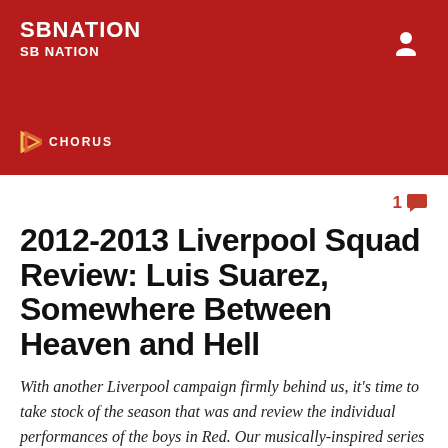SBNATION
SB NATION
1 comment
2012-2013 Liverpool Squad Review: Luis Suarez, Somewhere Between Heaven and Hell
With another Liverpool campaign firmly behind us, it's time to take stock of the season that was and review the individual performances of the boys in Red. Our musically-inspired series kicks off with the one and only, Luis Suarez.